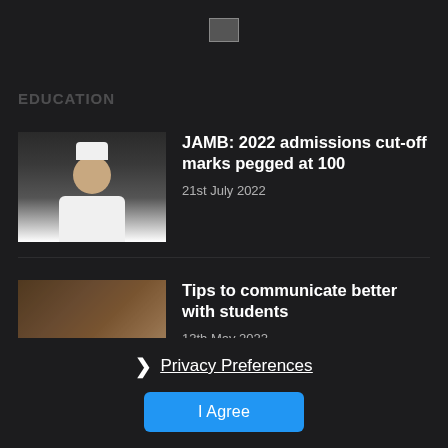[Figure (logo): Small logo image placeholder at top center]
EDUCATION
[Figure (photo): Photo of an elderly man in white clothing and white cap, smiling]
JAMB: 2022 admissions cut-off marks pegged at 100
21st July 2022
[Figure (photo): Photo of a classroom with teacher and students]
Tips to communicate better with students
13th May 2022
[Figure (photo): Dark photo, partially visible at bottom]
Tegina school Kidnap: How victims survived 88 days
Privacy Preferences
I Agree